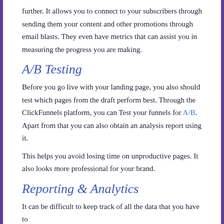further. It allows you to connect to your subscribers through sending them your content and other promotions through email blasts. They even have metrics that can assist you in measuring the progress you are making.
A/B Testing
Before you go live with your landing page, you also should test which pages from the draft perform best. Through the ClickFunnels platform, you can Test your funnels for A/B. Apart from that you can also obtain an analysis report using it.
This helps you avoid losing time on unproductive pages. It also looks more professional for your brand.
Reporting & Analytics
It can be difficult to keep track of all the data that you have to